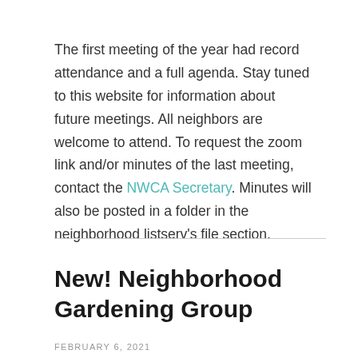The first meeting of the year had record attendance and a full agenda. Stay tuned to this website for information about future meetings. All neighbors are welcome to attend. To request the zoom link and/or minutes of the last meeting, contact the NWCA Secretary. Minutes will also be posted in a folder in the neighborhood listserv's file section.
New! Neighborhood Gardening Group
FEBRUARY 6, 2021